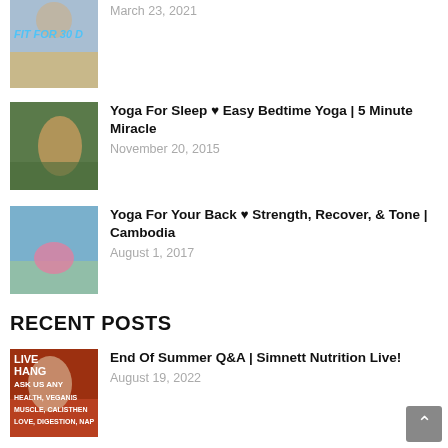March 23, 2021
Yoga For Sleep ♥ Easy Bedtime Yoga | 5 Minute Miracle
November 20, 2015
Yoga For Your Back ♥ Strength, Recover, & Tone | Cambodia
August 1, 2017
RECENT POSTS
End Of Summer Q&A | Simnett Nutrition Live!
August 19, 2022
HEALTHY DESSERTS to make at home! NEW easy recipes